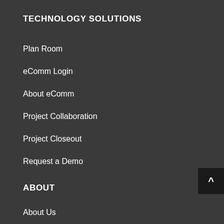TECHNOLOGY SOLUTIONS
Plan Room
eComm Login
About eComm
Project Collaboration
Project Closeout
Request a Demo
ABOUT
About Us
Locations
Community Giving
Sustainability
Blog